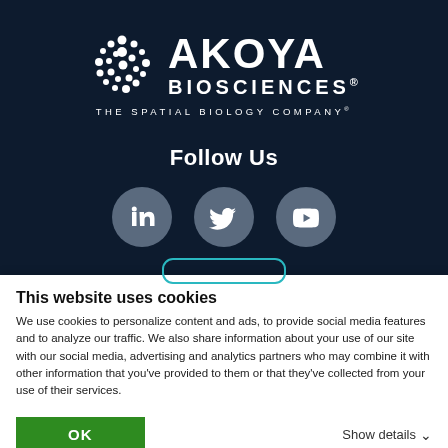[Figure (logo): Akoya Biosciences logo — circular dot pattern icon on left, text 'AKOYA BIOSCIENCES® THE SPATIAL BIOLOGY COMPANY®' on right, white on dark navy background]
Follow Us
[Figure (illustration): Three social media icon circles: LinkedIn, Twitter, YouTube — grey circles on dark navy background]
This website uses cookies
We use cookies to personalize content and ads, to provide social media features and to analyze our traffic. We also share information about your use of our site with our social media, advertising and analytics partners who may combine it with other information that you've provided to them or that they've collected from your use of their services.
OK
Show details